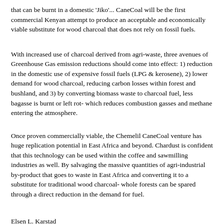that can be burnt in a domestic 'Jiko'... CaneCoal will be the first commercial Kenyan attempt to produce an acceptable and economically viable substitute for wood charcoal that does not rely on fossil fuels.
With increased use of charcoal derived from agri-waste, three avenues of Greenhouse Gas emission reductions should come into effect: 1) reduction in the domestic use of expensive fossil fuels (LPG & kerosene), 2) lower demand for wood charcoal, reducing carbon losses within forest and bushland, and 3) by converting biomass waste to charcoal fuel, less bagasse is burnt or left rot- which reduces combustion gasses and methane entering the atmosphere.
Once proven commercially viable, the Chemelil CaneCoal venture has huge replication potential in East Africa and beyond. Chardust is confident that this technology can be used within the coffee and sawmilling industries as well. By salvaging the massive quantities of agri-industrial by-product that goes to waste in East Africa and converting it to a substitute for traditional wood charcoal- whole forests can be spared through a direct reduction in the demand for fuel.
Elsen L. Karstad
briquettes@chardust.com
http://www.chardust.com
Nairobi, Kenya